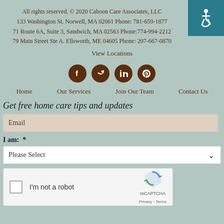All rights reserved. © 2020 Cahoon Care Associates, LLC
133 Washington St. Norwell, MA 02061 Phone: 781-659-1877
71 Route 6A, Suite 3, Sandwich, MA 02563 Phone:774-994-2212
79 Main Street Ste A. Ellsworth, ME 04605 Phone: 207-667-0870
View Locations
[Figure (illustration): Four social media icons (Facebook, Twitter, LinkedIn, Pinterest) as white icons on dark brown circles]
Home    Our Services    Join Our Team    Contact Us
Get free home care tips and updates
Email
I am:  *
Please Select
[Figure (screenshot): reCAPTCHA widget with checkbox 'I'm not a robot' and reCAPTCHA logo with Privacy and Terms links]
[Figure (logo): Accessibility icon (wheelchair symbol) on teal background in top-right corner]